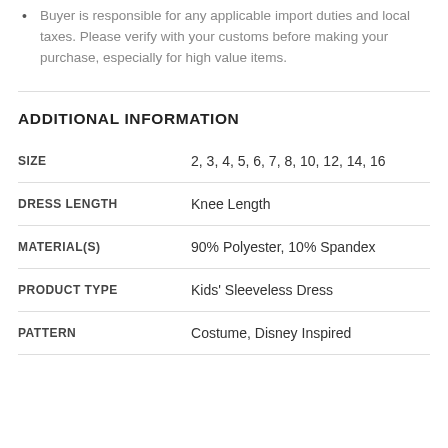Buyer is responsible for any applicable import duties and local taxes. Please verify with your customs before making your purchase, especially for high value items.
ADDITIONAL INFORMATION
| Attribute | Value |
| --- | --- |
| SIZE | 2, 3, 4, 5, 6, 7, 8, 10, 12, 14, 16 |
| DRESS LENGTH | Knee Length |
| MATERIAL(S) | 90% Polyester, 10% Spandex |
| PRODUCT TYPE | Kids' Sleeveless Dress |
| PATTERN | Costume, Disney Inspired |